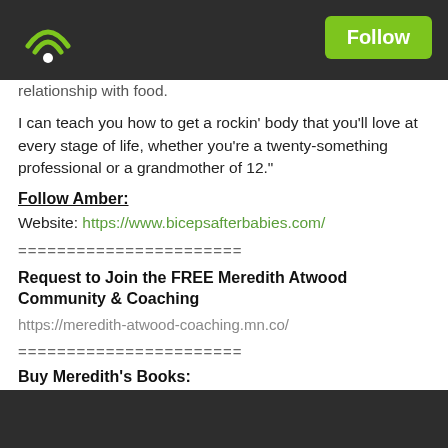Follow
relationship with food.
I can teach you how to get a rockin' body that you'll love at every stage of life, whether you're a twenty-something professional or a grandmother of 12."
Follow Amber:
Website: https://www.bicepsafterbabies.com/
=======================
Request to Join the FREE Meredith Atwood Community & Coaching
https://meredith-atwood-coaching.mn.co/
=======================
Buy Meredith's Books:
The Year of No Mo...
https://am...
Triathlete...
[Figure (other): Play this podcast on Podbean App button at the bottom of the screen]